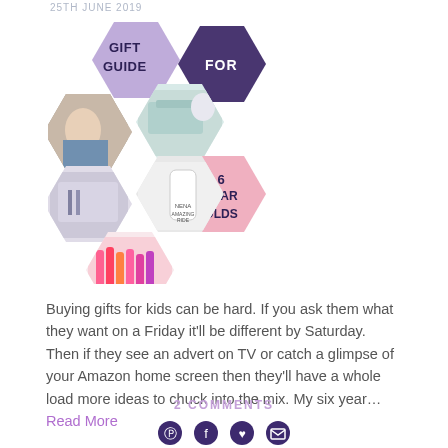25TH JUNE 2019
[Figure (photo): A collage of hexagonal tiles showing gift items — a child, lunch boxes, a water bottle, colorful pens/markers, with text overlays reading 'GIFT GUIDE FOR 6 YEAR OLDS' in purple and pink hexagons]
Buying gifts for kids can be hard. If you ask them what they want on a Friday it'll be different by Saturday. Then if they see an advert on TV or catch a glimpse of your Amazon home screen then they'll have a whole load more ideas to chuck into the mix. My six year… Read More
2 COMMENTS